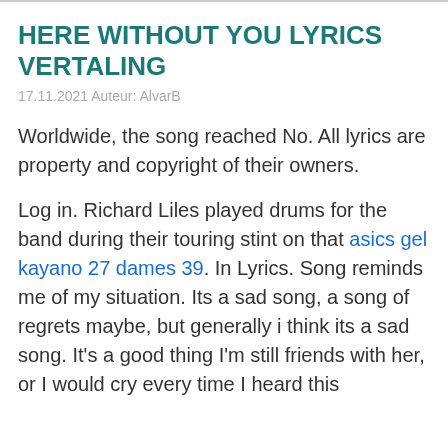HERE WITHOUT YOU LYRICS VERTALING
17.11.2021 Auteur: AlvarB
Worldwide, the song reached No. All lyrics are property and copyright of their owners.
Log in. Richard Liles played drums for the band during their touring stint on that asics gel kayano 27 dames 39. In Lyrics. Song reminds me of my situation. Its a sad song, a song of regrets maybe, but generally i think its a sad song. It's a good thing I'm still friends with her, or I would cry every time I heard this